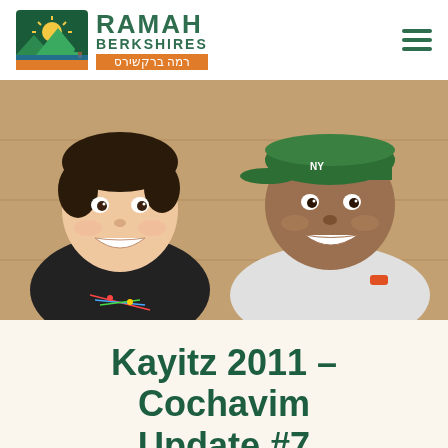Ramah Berkshires
[Figure (photo): Two smiling boys posing together indoors. The boy on the left is wearing a black t-shirt with a subway map design. The boy on the right is wearing a green NY Jets cap and a light grey shirt.]
Kayitz 2011 – Cochavim Update #7